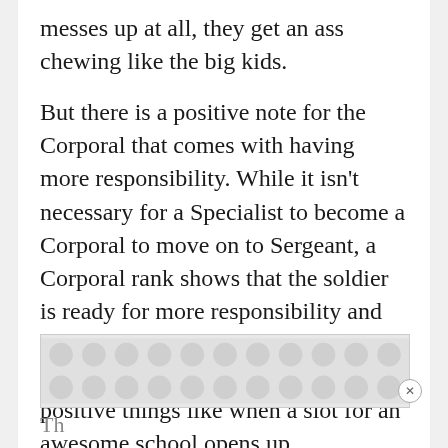messes up at all, they get an ass chewing like the big kids.
But there is a positive note for the Corporal that comes with having more responsibility. While it isn't necessary for a Specialist to become a Corporal to move on to Sergeant, a Corporal rank shows that the soldier is ready for more responsibility and will show that the soldier is far more responsible when it comes to picking positive things like when a slot for an awesome school opens up.
[Figure (other): Advertisement banner with circular dot pattern on grey background]
Th                                                                      t